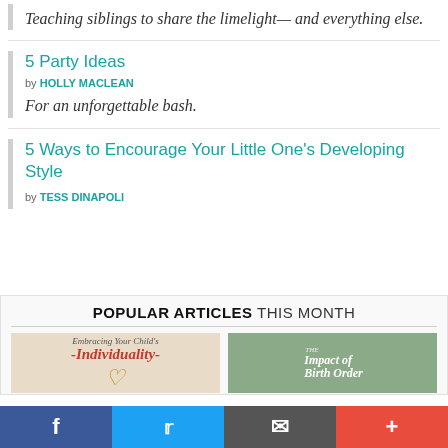Teaching siblings to share the limelight— and everything else.
5 Party Ideas
by HOLLY MACLEAN
For an unforgettable bash.
5 Ways to Encourage Your Little One's Developing Style
by TESS DINAPOLI
POPULAR ARTICLES THIS MONTH
[Figure (photo): Two article thumbnail images: left shows 'Embracing Your Child's Individuality' with a toddler flexing, right shows 'The Impact of Birth Order' with three children outdoors.]